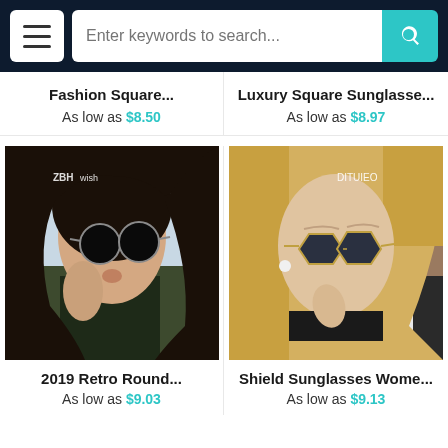Enter keywords to search...
Fashion Square...
As low as $8.50
Luxury Square Sunglasse...
As low as $8.97
[Figure (photo): Woman with dark hair wearing round black sunglasses, watermark ZBHwish]
[Figure (photo): Blonde woman wearing hexagonal sunglasses, watermark DITUIEO]
2019 Retro Round...
As low as $9.03
Shield Sunglasses Wome...
As low as $9.13